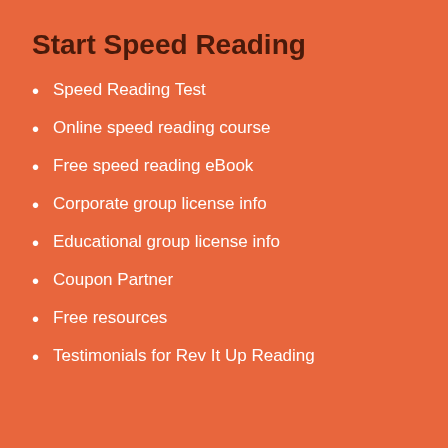Start Speed Reading
Speed Reading Test
Online speed reading course
Free speed reading eBook
Corporate group license info
Educational group license info
Coupon Partner
Free resources
Testimonials for Rev It Up Reading